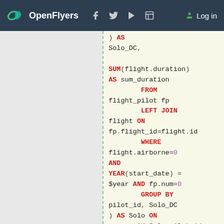OpenFlyers  Log in
[Figure (screenshot): SQL code snippet showing a query with SUM, FROM, LEFT JOIN, WHERE, AND, YEAR, GROUP BY, AS, SELECT, IF, COUNT clauses for flight pilot data]
) AS
Solo_DC,

SUM(flight.duration)
AS sum_duration
    FROM
flight_pilot fp
    LEFT JOIN
flight ON
fp.flight_id=flight.id
    WHERE
flight.airborne=0
AND
YEAR(start_date) =
$year AND fp.num=0
    GROUP BY
pilot_id, Solo_DC
) AS Solo ON
person.id=Solo.pilot_id
AND
Solo.Solo_DC='Solo'
LEFT JOIN (
    SELECT
        pilot_id,
        IF (
            (SELECT
COUNT(*) FROM